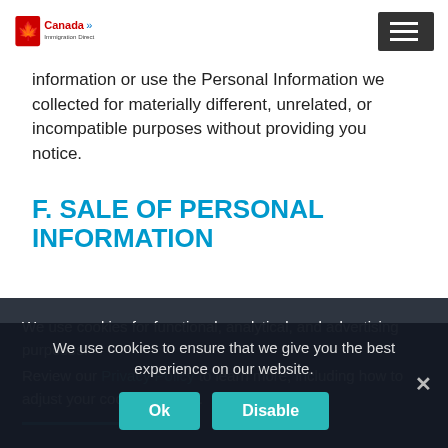Canada Immigration Direct logo and navigation menu
information or use the Personal Information we collected for materially different, unrelated, or incompatible purposes without providing you notice.
F. SALE OF PERSONAL INFORMATION
We use cookies for functional, analytical, and advertising purposes.
Review our Privacy Policy to learn more, including how to adjust your cookie settings.
We use cookies to ensure that we give you the best experience on our website.